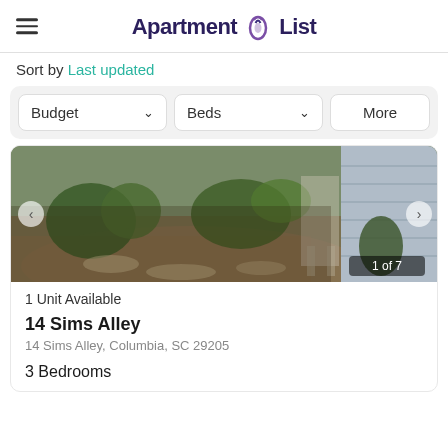Apartment List
Sort by Last updated
Budget  Beds  More
[Figure (photo): Exterior photo of a house/property showing landscaping with plants, mulch, and stone pathway, with a gray siding wall on the right. Image counter shows '1 of 7'.]
1 Unit Available
14 Sims Alley
14 Sims Alley, Columbia, SC 29205
3 Bedrooms